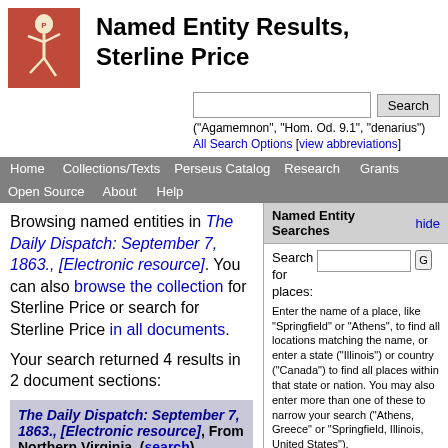[Figure (logo): Perseus Digital Library logo: white figure running on red background]
Named Entity Results, Sterline Price
("Agamemnon", "Hom. Od. 9.1", "denarius")
All Search Options [view abbreviations]
Home | Collections/Texts | Perseus Catalog | Research | Grants | Open Source | About | Help
Browsing named entities in The Daily Dispatch: September 7, 1863., [Electronic resource]. You can also browse the collection for Sterline Price or search for Sterline Price in all documents.
Your search returned 4 results in 2 document sections:
The Daily Dispatch: September 7, 1863., [Electronic resource], From Northern Virginia. (search)
ns has opened. Rumors are rife of various movements of rebel troops in our front.
Named Entity Searches
Search for places:
Enter the name of a place, like "Springfield" or "Athens", to find all locations matching the name, or enter a state ("Illinois") or country ("Canada") to find all places within that state or nation. You may also enter more than one of these to narrow your search ("Athens, Greece" or "Springfield, Illinois, United States").
Note that abbreviations ("USA", "Ill.") do not work at present--please stick to full names!
Search for a